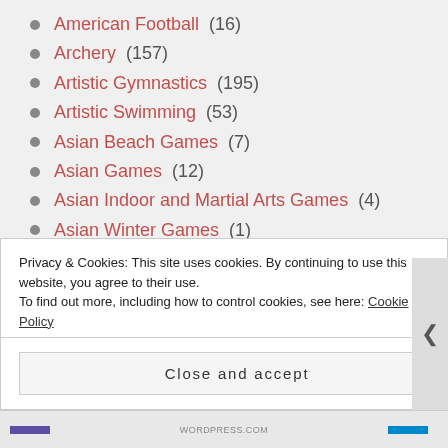American Football (16)
Archery (157)
Artistic Gymnastics (195)
Artistic Swimming (53)
Asian Beach Games (7)
Asian Games (12)
Asian Indoor and Martial Arts Games (4)
Asian Winter Games (1)
Asian Youth Games (1)
Athletics (325)
Badminton (325)
Bandy (38)
Privacy & Cookies: This site uses cookies. By continuing to use this website, you agree to their use. To find out more, including how to control cookies, see here: Cookie Policy
Close and accept